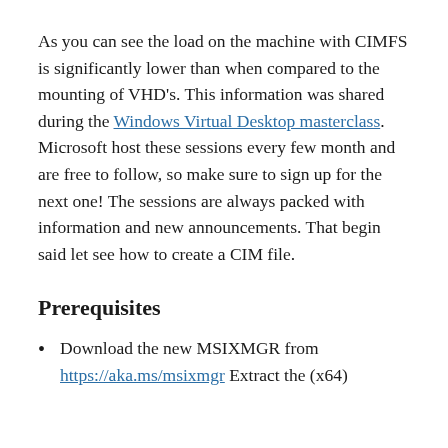As you can see the load on the machine with CIMFS is significantly lower than when compared to the mounting of VHD's. This information was shared during the Windows Virtual Desktop masterclass. Microsoft host these sessions every few month and are free to follow, so make sure to sign up for the next one! The sessions are always packed with information and new announcements. That begin said let see how to create a CIM file.
Prerequisites
Download the new MSIXMGR from https://aka.ms/msixmgr. Extract the (x64)